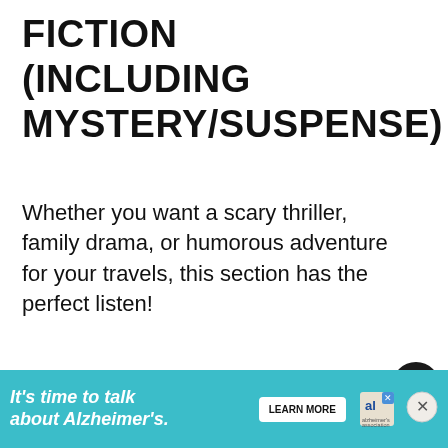FICTION (INCLUDING MYSTERY/SUSPENSE)
Whether you want a scary thriller,  family drama, or humorous adventure for your travels, this section has the perfect listen!
[Figure (screenshot): Round book cover for 'A History of Wild Places' with dark silhouette figures on a beige background, partially visible at bottom of page]
WHAT'S NEXT → Best Books of 2022 So Far
[Figure (infographic): Advertisement banner: 'It's time to talk about Alzheimer's.' with LEARN MORE button and Alzheimer's Association logo on teal background]